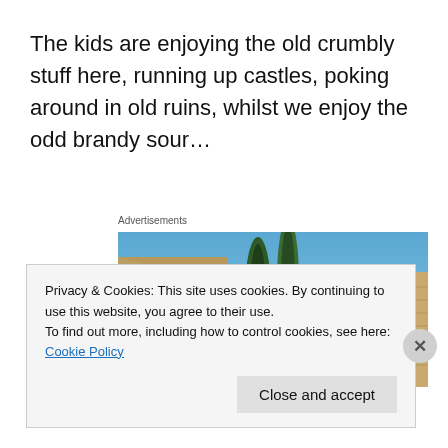The kids are enjoying the old crumbly stuff here, running up castles, poking around in old ruins, whilst we enjoy the odd brandy sour…
Advertisements
[Figure (photo): Photo of ancient stone ruins and castle walls with tall cypress trees against a blue sky]
Privacy & Cookies: This site uses cookies. By continuing to use this website, you agree to their use.
To find out more, including how to control cookies, see here: Cookie Policy
Close and accept